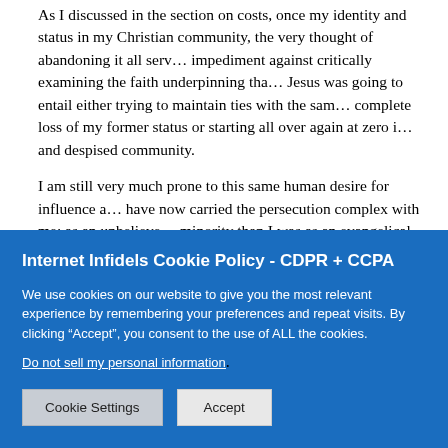As I discussed in the section on costs, once my identity and status in my Christian community, the very thought of abandoning it all served as an impediment against critically examining the faith underpinning that. Leaving Jesus was going to entail either trying to maintain ties with the same group, complete loss of my former status or starting all over again at zero in a new and despised community.
I am still very much prone to this same human desire for influence and I have now carried the persecution complex with me; as an unbeliever in a minority than I was as an evangelical. This provides the potential to look down on those around me, especially in the predominantly Christian Dallas, Texas I call home. I must guard against this tendency to cherish the persecution and fancy myself a cut above those who have not “seen the light.”
In sum, we must all give thought to the extent to which our identity...
Internet Infidels Cookie Policy - CDPR + CCPA
We use cookies on our website to give you the most relevant experience by remembering your preferences and repeat visits. By clicking “Accept”, you consent to the use of ALL the cookies.
Do not sell my personal information.